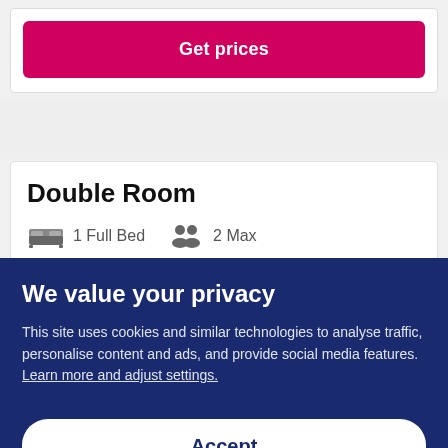Get prices
Double Room
1 Full Bed   2 Max
Get prices
We value your privacy
This site uses cookies and similar technologies to analyse traffic, personalise content and ads, and provide social media features. Learn more and adjust settings.
Accept